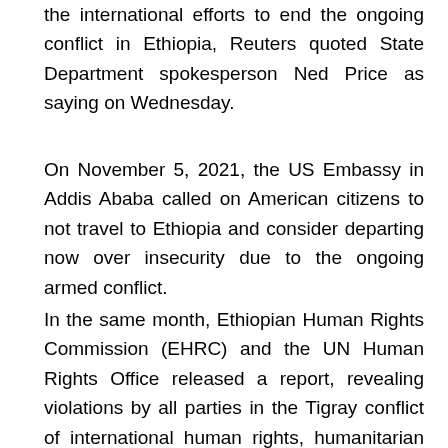the international efforts to end the ongoing conflict in Ethiopia, Reuters quoted State Department spokesperson Ned Price as saying on Wednesday.
On November 5, 2021, the US Embassy in Addis Ababa called on American citizens to not travel to Ethiopia and consider departing now over insecurity due to the ongoing armed conflict.
In the same month, Ethiopian Human Rights Commission (EHRC) and the UN Human Rights Office released a report, revealing violations by all parties in the Tigray conflict of international human rights, humanitarian and refugee law, and possible war crimes and crimes against humanity.